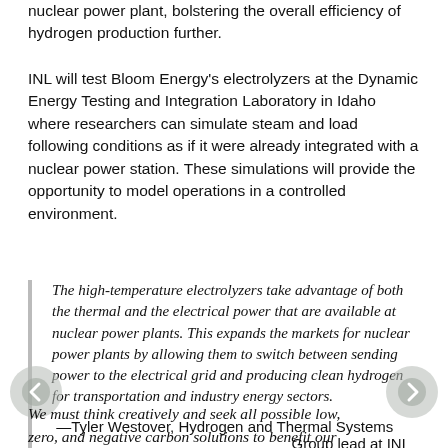nuclear power plant, bolstering the overall efficiency of hydrogen production further.
INL will test Bloom Energy's electrolyzers at the Dynamic Energy Testing and Integration Laboratory in Idaho where researchers can simulate steam and load following conditions as if it were already integrated with a nuclear power station. These simulations will provide the opportunity to model operations in a controlled environment.
The high-temperature electrolyzers take advantage of both the thermal and the electrical power that are available at nuclear power plants. This expands the markets for nuclear power plants by allowing them to switch between sending power to the electrical grid and producing clean hydrogen for transportation and industry energy sectors.
—Tyler Westover, Hydrogen and Thermal Systems Group lead at INL
We must think creatively and seek all possible low, zero, and negative carbon solutions to benefit our